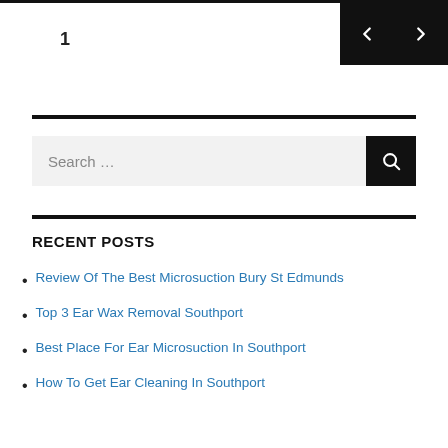1
Search …
RECENT POSTS
Review Of The Best Microsuction Bury St Edmunds
Top 3 Ear Wax Removal Southport
Best Place For Ear Microsuction In Southport
How To Get Ear Cleaning In Southport